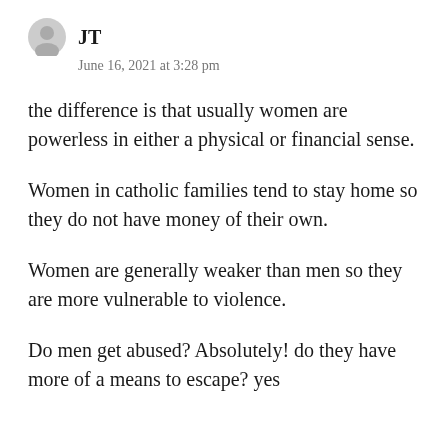JT
June 16, 2021 at 3:28 pm
the difference is that usually women are powerless in either a physical or financial sense.
Women in catholic families tend to stay home so they do not have money of their own.
Women are generally weaker than men so they are more vulnerable to violence.
Do men get abused? Absolutely! do they have more of a means to escape? yes